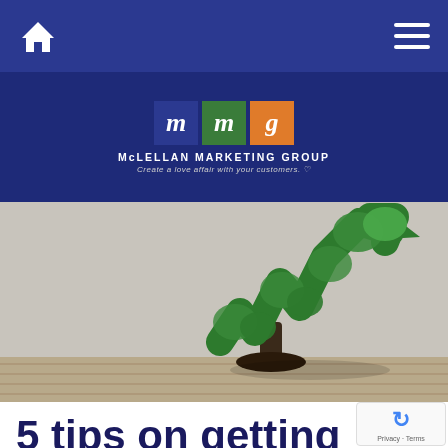[Figure (logo): Top navigation bar with home icon and hamburger menu on dark blue background]
[Figure (logo): McLellan Marketing Group logo with three colored boxes (m, m, g) in blue, green, orange. Text: MCLELLAN MARKETING GROUP. Tagline: Create a love affair with your customers.]
[Figure (photo): Hero image showing a tree trimmed into the shape of a rising stock market arrow/line chart, growing from wooden floor against grey concrete wall background]
5 tips on getting them to open your direct mail